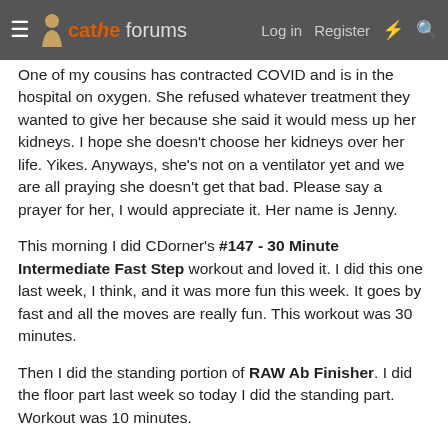cathe forums — Log in  Register
One of my cousins has contracted COVID and is in the hospital on oxygen. She refused whatever treatment they wanted to give her because she said it would mess up her kidneys. I hope she doesn't choose her kidneys over her life. Yikes. Anyways, she's not on a ventilator yet and we are all praying she doesn't get that bad. Please say a prayer for her, I would appreciate it. Her name is Jenny.
This morning I did CDorner's #147 - 30 Minute Intermediate Fast Step workout and loved it. I did this one last week, I think, and it was more fun this week. It goes by fast and all the moves are really fun. This workout was 30 minutes.
Then I did the standing portion of RAW Ab Finisher. I did the floor part last week so today I did the standing part. Workout was 10 minutes.
So I just applied for an Administrative Assistant position at a landscaping company right around the corner from where I live. I